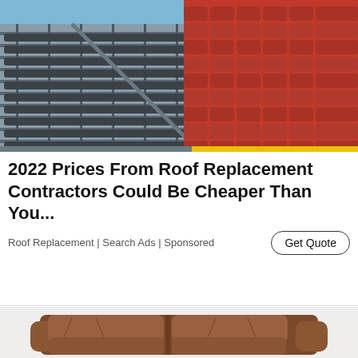[Figure (photo): Rooftop with solar thermal panels on the left side and red clay roof tiles on the right side, against a blue sky background.]
2022 Prices From Roof Replacement Contractors Could Be Cheaper Than You...
Roof Replacement | Search Ads | Sponsored
[Figure (photo): A brown leather two-seat sofa/loveseat on a white background, showing wear and creases on the cushions.]